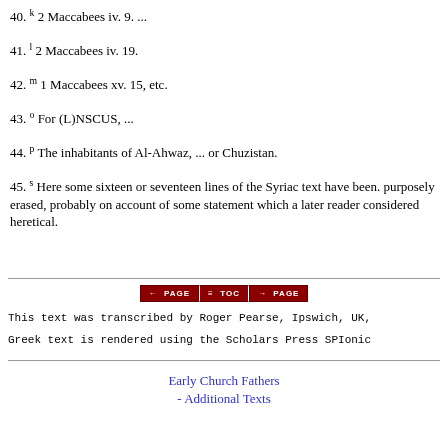40. k 2 Maccabees iv. 9. ...
41. l 2 Maccabees iv. 19.
42. m 1 Maccabees xv. 15, etc.
43. o For (L)NSCUS, ...
44. p The inhabitants of Al-Ahwaz, ... or Chuzistan.
45. s Here some sixteen or seventeen lines of the Syriac text have been. purposely erased, probably on account of some statement which a later reader considered heretical.
This text was transcribed by Roger Pearse, Ipswich, UK,
Greek text is rendered using the Scholars Press SPIonic
Early Church Fathers - Additional Texts